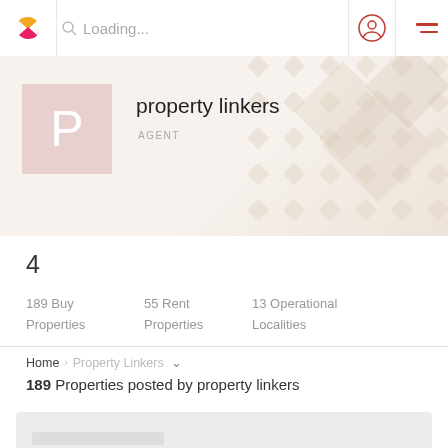Loading...
property linkers
AGENT
4
189 Buy Properties
55 Rent Properties
13 Operational Localities
Home > Property Linkers
189 Properties posted by property linkers